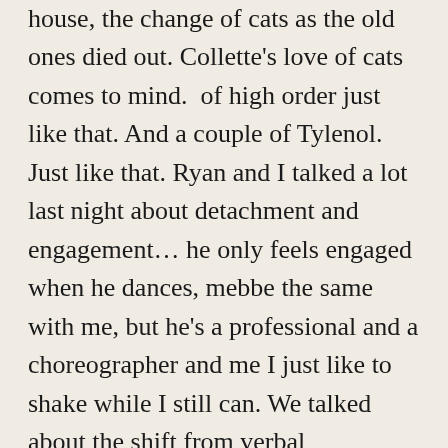house, the change of cats as the old ones died out. Collette's love of cats comes to mind.  of high order just like that. And a couple of Tylenol.  Just like that. Ryan and I talked a lot last night about detachment and engagement… he only feels engaged when he dances, mebbe the same with me, but he's a professional and a choreographer and me I just like to shake while I still can. We talked about the shift from verbal engagement, thought, the inner commentary, about the shift from that to the pre-verbal state of dance and oddly enough, painting, and I find, photography too. pre-verbal, post-verbal, just non-verbal. How the last time I made the shift to painting i sensed a chasm open under me. We'd been exchanging those sweet dark videos and the